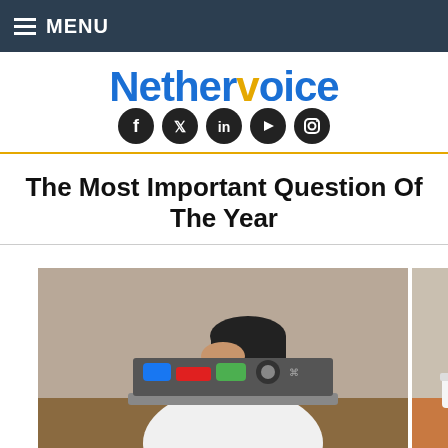MENU
Nethervoice
[Figure (other): Five social media icons (Facebook, Twitter, LinkedIn, YouTube, Instagram) as dark circles]
The Most Important Question Of The Year
[Figure (photo): A young man looking stressed with his head in his hand, working on a laptop covered in stickers. Second panel shows a beige/tan wall with a cup and phone on a surface.]